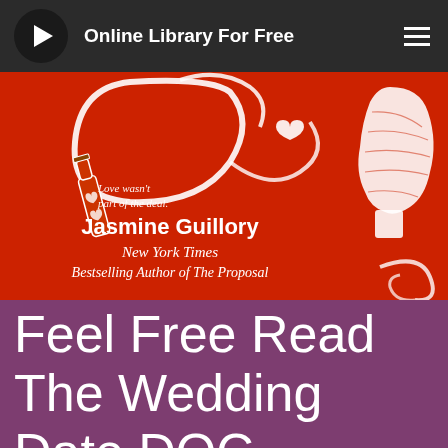Online Library For Free
[Figure (illustration): Book cover for 'The Wedding Date' by Jasmine Guillory on a red background with white silhouette of a man's profile, a champagne bottle, a heart, and cursive text. Tagline reads: 'Love wasn't part of the deal.' Author credit: 'Jasmine Guillory, New York Times Bestselling Author of The Proposal']
Feel Free Read The Wedding Date DOC